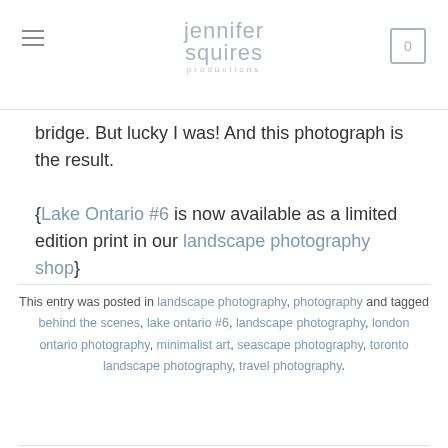jennifer squires productions
bridge. But lucky I was! And this photograph is the result.
{Lake Ontario #6 is now available as a limited edition print in our landscape photography shop}
This entry was posted in landscape photography, photography and tagged behind the scenes, lake ontario #6, landscape photography, london ontario photography, minimalist art, seascape photography, toronto landscape photography, travel photography.